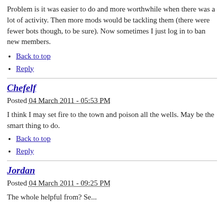Problem is it was easier to do and more worthwhile when there was a lot of activity. Then more mods would be tackling them (there were fewer bots though, to be sure). Now sometimes I just log in to ban new members.
Back to top
Reply
Chefelf
Posted 04 March 2011 - 05:53 PM
I think I may set fire to the town and poison all the wells. May be the smart thing to do.
Back to top
Reply
Jordan
Posted 04 March 2011 - 09:25 PM
The whole helpful from? Se...